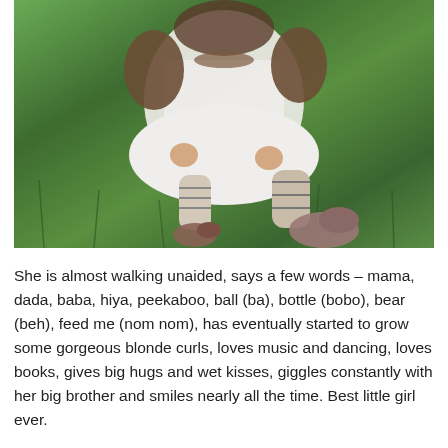[Figure (photo): A baby/toddler sitting on green grass outdoors, wearing a white dress, brown cardigan, striped leg warmers, and pink shoes. The photo shows the child from roughly chest-down, sitting with legs extended forward.]
She is almost walking unaided, says a few words – mama, dada, baba, hiya, peekaboo, ball (ba), bottle (bobo), bear (beh), feed me (nom nom), has eventually started to grow some gorgeous blonde curls, loves music and dancing, loves books, gives big hugs and wet kisses, giggles constantly with her big brother and smiles nearly all the time. Best little girl ever.